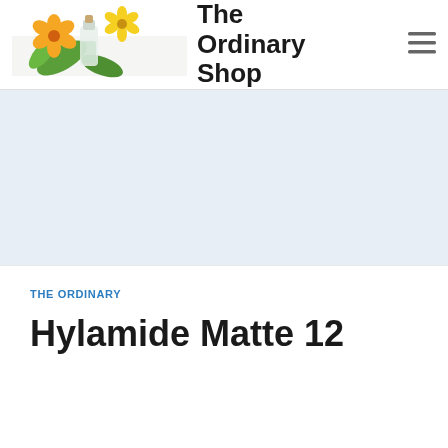[Figure (logo): The Ordinary Shop website header with flowers and essential oil bottle logo on the left, site title 'The Ordinary Shop' in bold, and hamburger menu icon on the right]
[Figure (other): Light blue-grey advertisement/banner area placeholder]
THE ORDINARY
Hylamide Matte 12